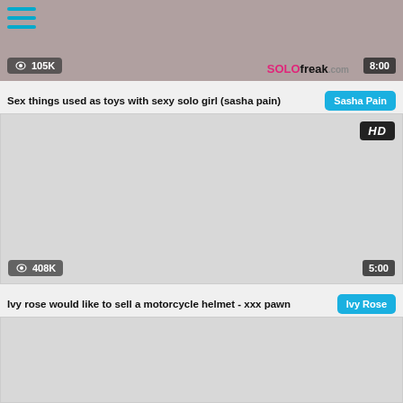[Figure (screenshot): Top video thumbnail showing partial image with hamburger menu icon, 105K views badge, solofreak.com brand watermark, and 8:00 duration badge]
Sex things used as toys with sexy solo girl (sasha pain)
Sasha Pain
[Figure (screenshot): Middle video thumbnail placeholder in light gray with HD badge in top right, 408K views badge bottom left, 5:00 duration badge bottom right]
Ivy rose would like to sell a motorcycle helmet - xxx pawn
Ivy Rose
[Figure (screenshot): Bottom video thumbnail placeholder in light gray]